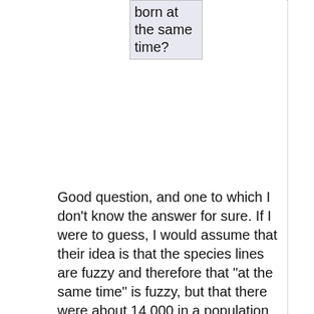were born at the same time?
Good question, and one to which I don't know the answer for sure. If I were to guess, I would assume that their idea is that the species lines are fuzzy and therefore that "at the same time" is fuzzy, but that there were about 14,000 in a population capable of interbreeding at